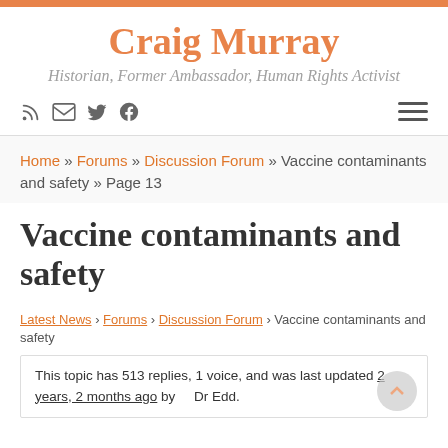Craig Murray – Historian, Former Ambassador, Human Rights Activist
Home » Forums » Discussion Forum » Vaccine contaminants and safety » Page 13
Vaccine contaminants and safety
Latest News › Forums › Discussion Forum › Vaccine contaminants and safety
This topic has 513 replies, 1 voice, and was last updated 2 years, 2 months ago by Dr Edd.